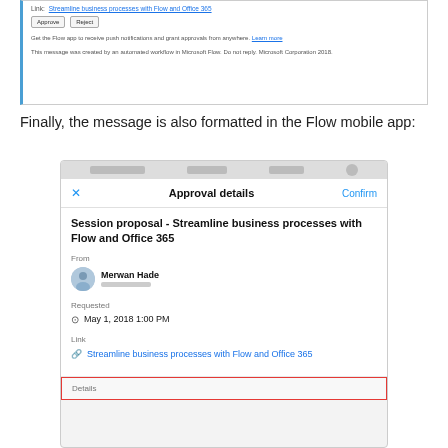[Figure (screenshot): Email approval notification snippet showing Link field, Approve/Reject buttons, and footer text about Microsoft Flow]
Finally, the message is also formatted in the Flow mobile app:
[Figure (screenshot): Mobile app screenshot showing Approval details screen with Session proposal title, From field (Merwan Hade), Requested date (May 1, 2018 1:00 PM), Link field, and Details section with red border highlight]